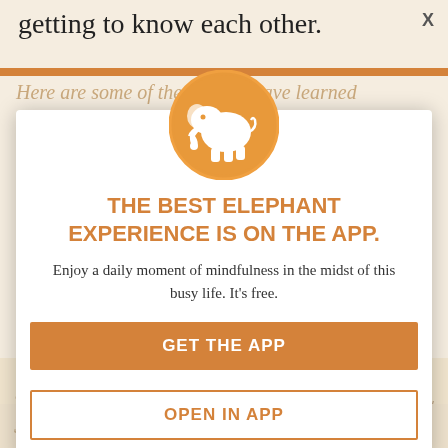getting to know each other.
[Figure (screenshot): App promotion modal overlay with orange elephant logo circle, title 'THE BEST ELEPHANT EXPERIENCE IS ON THE APP.', description text, and two buttons: 'GET THE APP' and 'OPEN IN APP'. Background shows faded article text.]
THE BEST ELEPHANT EXPERIENCE IS ON THE APP.
Enjoy a daily moment of mindfulness in the midst of this busy life. It's free.
GET THE APP
OPEN IN APP